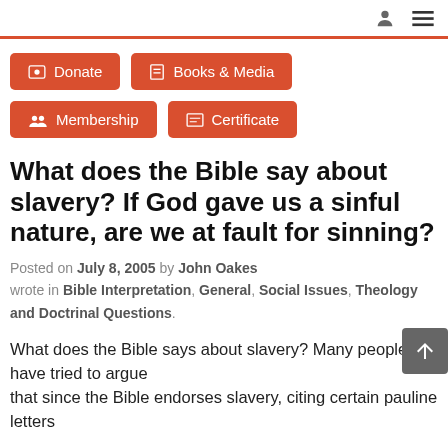[user icon] [menu icon]
Donate
Books & Media
Membership
Certificate
What does the Bible say about slavery? If God gave us a sinful nature, are we at fault for sinning?
Posted on July 8, 2005 by John Oakes wrote in Bible Interpretation, General, Social Issues, Theology and Doctrinal Questions.
What does the Bible says about slavery? Many people have tried to argue that since the Bible endorses slavery, citing certain pauline letters